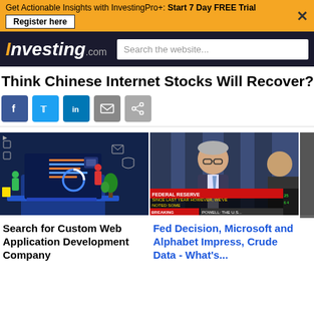Get Actionable Insights with InvestingPro+: Start 7 Day FREE Trial — Register here
[Figure (logo): Investing.com logo with search bar]
Think Chinese Internet Stocks Will Recover? Consid
[Figure (infographic): Social share icons: Facebook, Twitter, LinkedIn, Email, Share]
[Figure (photo): Tech illustration: person working on large laptop with app icons and charts]
[Figure (photo): Federal Reserve press conference screenshot with Jerome Powell and news ticker]
Search for Custom Web Application Development Company
Fed Decision, Microsoft and Alphabet Impress, Crude Data - What's...